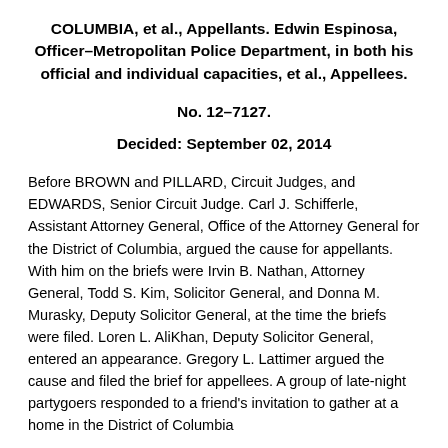COLUMBIA, et al., Appellants. Edwin Espinosa, Officer–Metropolitan Police Department, in both his official and individual capacities, et al., Appellees.
No. 12–7127.
Decided: September 02, 2014
Before BROWN and PILLARD, Circuit Judges, and EDWARDS, Senior Circuit Judge. Carl J. Schifferle, Assistant Attorney General, Office of the Attorney General for the District of Columbia, argued the cause for appellants. With him on the briefs were Irvin B. Nathan, Attorney General, Todd S. Kim, Solicitor General, and Donna M. Murasky, Deputy Solicitor General, at the time the briefs were filed. Loren L. AliKhan, Deputy Solicitor General, entered an appearance. Gregory L. Lattimer argued the cause and filed the brief for appellees. A group of late-night partygoers responded to a friend's invitation to gather at a home in the District of Columbia